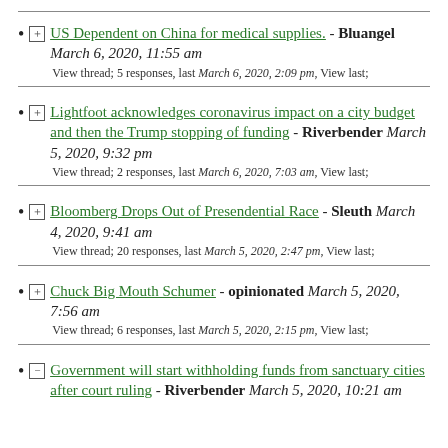⊞ US Dependent on China for medical supplies. - Bluangel March 6, 2020, 11:55 am
View thread; 5 responses, last March 6, 2020, 2:09 pm, View last;
⊞ Lightfoot acknowledges coronavirus impact on a city budget and then the Trump stopping of funding - Riverbender March 5, 2020, 9:32 pm
View thread; 2 responses, last March 6, 2020, 7:03 am, View last;
⊞ Bloomberg Drops Out of Presendential Race - Sleuth March 4, 2020, 9:41 am
View thread; 20 responses, last March 5, 2020, 2:47 pm, View last;
⊞ Chuck Big Mouth Schumer - opinionated March 5, 2020, 7:56 am
View thread; 6 responses, last March 5, 2020, 2:15 pm, View last;
⊟ Government will start withholding funds from sanctuary cities after court ruling - Riverbender March 5, 2020, 10:21 am